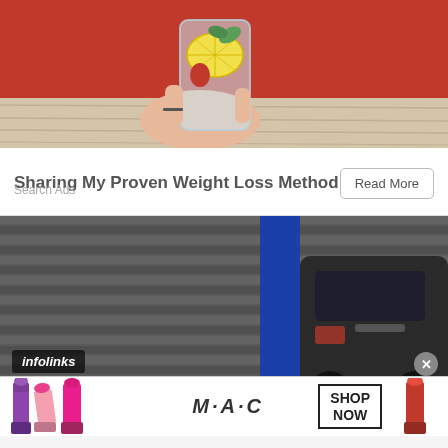[Figure (photo): Person in red top holding a glass jar with infused water, lemon and mint, resting on a white wooden surface]
Sharing My Proven Weight Loss Method
Search Ads
[Figure (photo): Close-up of the rear of a dark car near a corrugated metal structure with blue element visible]
[Figure (logo): Infolinks badge overlay]
[Figure (photo): MAC cosmetics advertisement showing lipsticks in purple, pink, and red colors with M·A·C logo and SHOP NOW box]